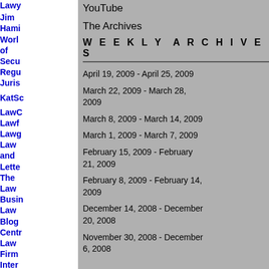Lawy...
Jim Hami... World of Secu... Regu... Juris...
KatSc...
LawC... Lawf... Lawg... Law and Lette... The Law Busin... Law Blog Centr... Law Firm Inter... Mark...
YouTube
The Archives
W E E K L Y   A R C H I V E S
April 19, 2009 - April 25, 2009
March 22, 2009 - March 28, 2009
March 8, 2009 - March 14, 2009
March 1, 2009 - March 7, 2009
February 15, 2009 - February 21, 2009
February 8, 2009 - February 14, 2009
December 14, 2008 - December 20, 2008
November 30, 2008 - December 6, 2008